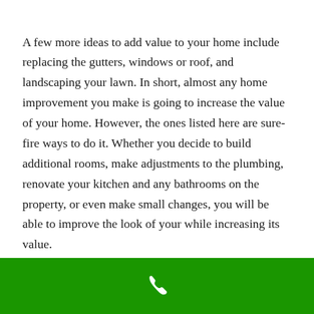A few more ideas to add value to your home include replacing the gutters, windows or roof, and landscaping your lawn. In short, almost any home improvement you make is going to increase the value of your home. However, the ones listed here are sure-fire ways to do it. Whether you decide to build additional rooms, make adjustments to the plumbing, renovate your kitchen and any bathrooms on the property, or even make small changes, you will be able to improve the look of your while increasing its value.

Great value can be brought by working to make a home more appealing and up-to-date!
[Figure (illustration): Green footer bar with a white phone handset icon centered]